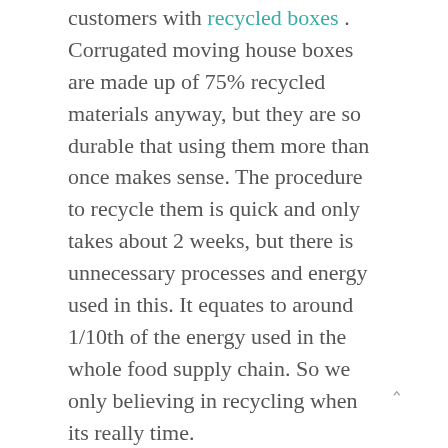customers with recycled boxes . Corrugated moving house boxes are made up of 75% recycled materials anyway, but they are so durable that using them more than once makes sense. The procedure to recycle them is quick and only takes about 2 weeks, but there is unnecessary processes and energy used in this. It equates to around 1/10th of the energy used in the whole food supply chain. So we only believing in recycling when its really time.
The recycling rate of corrugated cardboard is the highest across all different types of packaging in the whole world. In the UK, 84% of corrugated packaging produced is recycled. This is a great feat, and is the equivalent of 2,000,000 tonnes of British waste being saved from landfill.
So, the most important thing you can do when